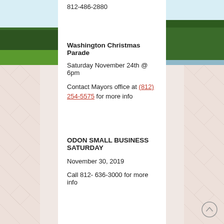812-486-2880
Washington Christmas Parade
Saturday November 24th @ 6pm
Contact Mayors office at (812) 254-5575 for more info
ODON SMALL BUSINESS SATURDAY
November 30, 2019
Call 812- 636-3000 for more info